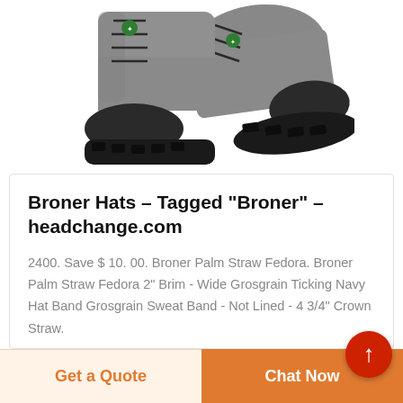[Figure (photo): Two gray work boots/hiking boots with black toe caps and black lug soles, shown crossed over each other on white background. Green logo on laces.]
Broner Hats – Tagged "Broner" – headchange.com
2400. Save $ 10. 00. Broner Palm Straw Fedora. Broner Palm Straw Fedora 2" Brim - Wide Grosgrain Ticking Navy Hat Band Grosgrain Sweat Band - Not Lined - 4 3/4" Crown Straw.